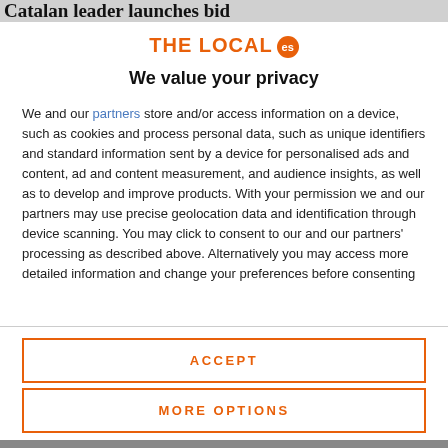Catalan leader launches bid
[Figure (logo): THE LOCAL es logo with orange text and orange circular 'es' badge]
We value your privacy
We and our partners store and/or access information on a device, such as cookies and process personal data, such as unique identifiers and standard information sent by a device for personalised ads and content, ad and content measurement, and audience insights, as well as to develop and improve products. With your permission we and our partners may use precise geolocation data and identification through device scanning. You may click to consent to our and our partners' processing as described above. Alternatively you may access more detailed information and change your preferences before consenting
ACCEPT
MORE OPTIONS